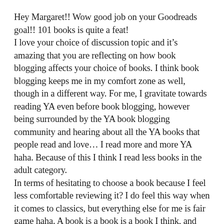Hey Margaret!! Wow good job on your Goodreads goal!! 101 books is quite a feat!
I love your choice of discussion topic and it's amazing that you are reflecting on how book blogging affects your choice of books. I think book blogging keeps me in my comfort zone as well, though in a different way. For me, I gravitate towards reading YA even before book blogging, however being surrounded by the YA book blogging community and hearing about all the YA books that people read and love… I read more and more YA haha. Because of this I think I read less books in the adult category.
In terms of hesitating to choose a book because I feel less comfortable reviewing it? I do feel this way when it comes to classics, but everything else for me is fair game haha. A book is a book is a book I think, and whether we are familiar with the genre and its tropes or not, we are entitled to our opinion. I think being new to a genre might even bring a fresh perspective 🙂
Great post!!!